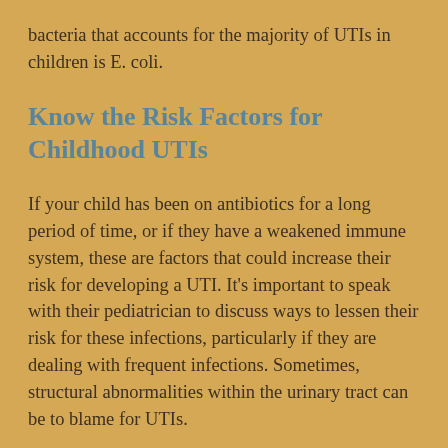bacteria that accounts for the majority of UTIs in children is E. coli.
Know the Risk Factors for Childhood UTIs
If your child has been on antibiotics for a long period of time, or if they have a weakened immune system, these are factors that could increase their risk for developing a UTI. It's important to speak with their pediatrician to discuss ways to lessen their risk for these infections, particularly if they are dealing with frequent infections. Sometimes, structural abnormalities within the urinary tract can be to blame for UTIs.
Recognize the Signs and Symptoms
To ensure that your child gets the proper medical